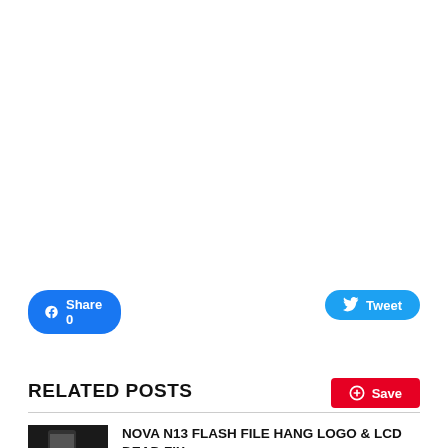[Figure (other): Blank white content area (advertisement or image placeholder)]
Share 0
Tweet
Save
RELATED POSTS
[Figure (photo): Thumbnail image of a phone/device for related post]
NOVA N13 FLASH FILE HANG LOGO & LCD DEAD FIX